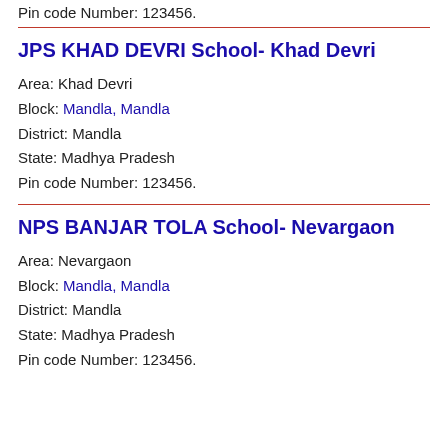Pin code Number: 123456.
JPS KHAD DEVRI School- Khad Devri
Area: Khad Devri
Block: Mandla, Mandla
District: Mandla
State: Madhya Pradesh
Pin code Number: 123456.
NPS BANJAR TOLA School- Nevargaon
Area: Nevargaon
Block: Mandla, Mandla
District: Mandla
State: Madhya Pradesh
Pin code Number: 123456.